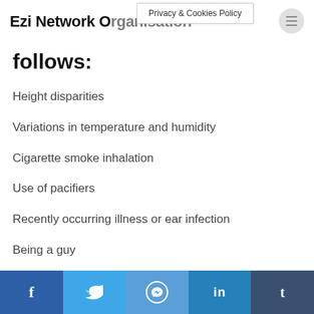Ezi Network Organisation
Privacy & Cookies Policy
follows:
Height disparities
Variations in temperature and humidity
Cigarette smoke inhalation
Use of pacifiers
Recently occurring illness or ear infection
Being a guy
The birth weight is insufficient.
f  Twitter  Messenger  in  t